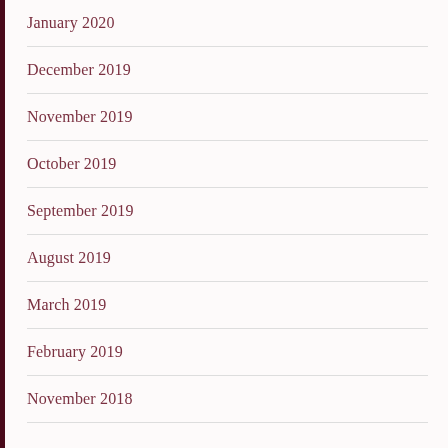January 2020
December 2019
November 2019
October 2019
September 2019
August 2019
March 2019
February 2019
November 2018